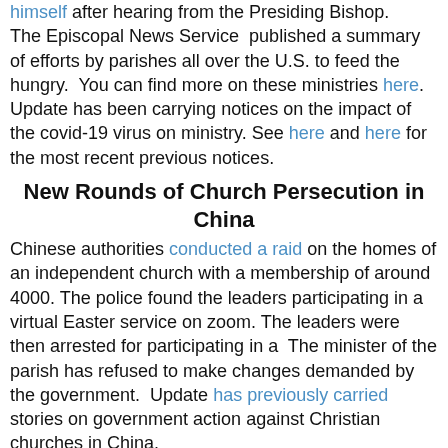himself after hearing from the Presiding Bishop. The Episcopal News Service published a summary of efforts by parishes all over the U.S. to feed the hungry. You can find more on these ministries here. Update has been carrying notices on the impact of the covid-19 virus on ministry. See here and here for the most recent previous notices.
New Rounds of Church Persecution in China
Chinese authorities conducted a raid on the homes of an independent church with a membership of around 4000. The police found the leaders participating in a virtual Easter service on zoom. The leaders were then arrested for participating in a The minister of the parish has refused to make changes demanded by the government. Update has previously carried stories on government action against Christian churches in China.
Kansas Ban on Church Meetings Takes Another Turn
Kansans may be forgiven if they feel a bit whiplashed by the status of ather Governor's order closing all churches as part of the lock-down. The state legislature tried to override the Governor's order, but the state supreme court ruled against